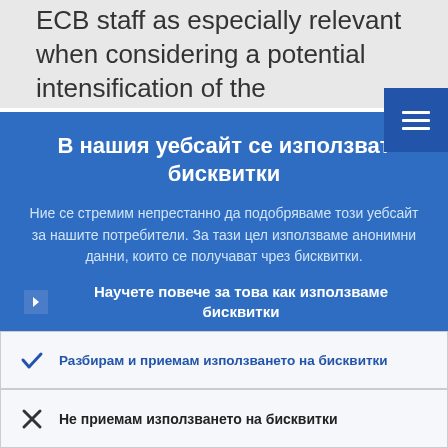ECB staff as especially relevant when considering a potential intensification of the...
В нашия уебсайт се използват бисквитки
Ние се стремим непрестанно да подобряваме този уебсайт за нашите потребители. За тази цел използваме анонимни данни, които се получават чрез бисквитки.
▶ Научете повече за това как използваме бисквитки
✓ Разбирам и приемам използването на бисквитки
✗ Не приемам използването на бисквитки